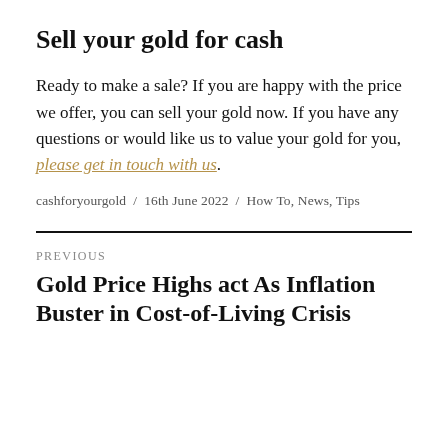Sell your gold for cash
Ready to make a sale? If you are happy with the price we offer, you can sell your gold now. If you have any questions or would like us to value your gold for you, please get in touch with us.
cashforyourgold / 16th June 2022 / How To, News, Tips
PREVIOUS
Gold Price Highs act As Inflation Buster in Cost-of-Living Crisis